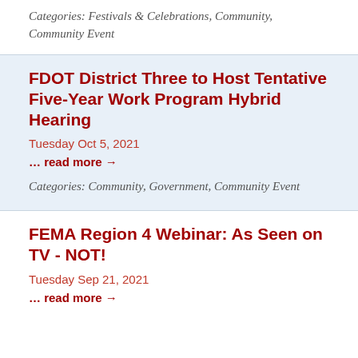Categories: Festivals & Celebrations, Community, Community Event
FDOT District Three to Host Tentative Five-Year Work Program Hybrid Hearing
Tuesday Oct 5, 2021
… read more →
Categories: Community, Government, Community Event
FEMA Region 4 Webinar: As Seen on TV - NOT!
Tuesday Sep 21, 2021
… read more →